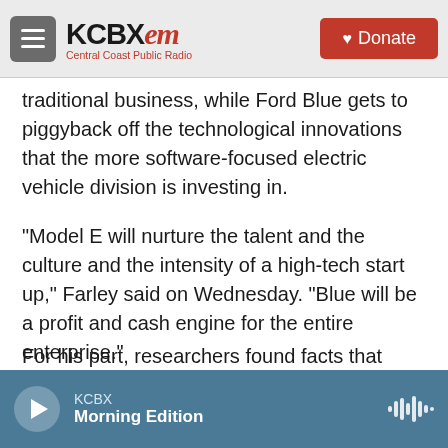KCBX FM — Central Coast Public Radio | Donate
traditional business, while Ford Blue gets to piggyback off the technological innovations that the more software-focused electric vehicle division is investing in.
"Model E will nurture the talent and the culture and the intensity of a high-tech start up," Farley said on Wednesday. "Blue will be a profit and cash engine for the entire enterprise."
Keeping a firm foot on its gas-powered past
KCBX — Morning Edition